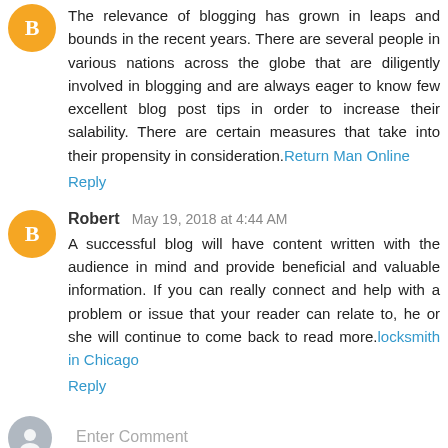The relevance of blogging has grown in leaps and bounds in the recent years. There are several people in various nations across the globe that are diligently involved in blogging and are always eager to know few excellent blog post tips in order to increase their salability. There are certain measures that take into their propensity in consideration.Return Man Online
Reply
Robert May 19, 2018 at 4:44 AM
A successful blog will have content written with the audience in mind and provide beneficial and valuable information. If you can really connect and help with a problem or issue that your reader can relate to, he or she will continue to come back to read more.locksmith in Chicago
Reply
Enter Comment